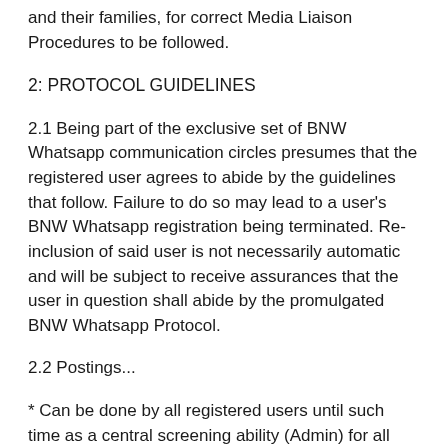and their families, for correct Media Liaison Procedures to be followed.
2: PROTOCOL GUIDELINES
2.1 Being part of the exclusive set of BNW Whatsapp communication circles presumes that the registered user agrees to abide by the guidelines that follow. Failure to do so may lead to a user's BNW Whatsapp registration being terminated. Re-inclusion of said user is not necessarily automatic and will be subject to receive assurances that the user in question shall abide by the promulgated BNW Whatsapp Protocol.
2.2 Postings...
* Can be done by all registered users until such time as a central screening ability (Admin) for all postings prior to its distribution is established.